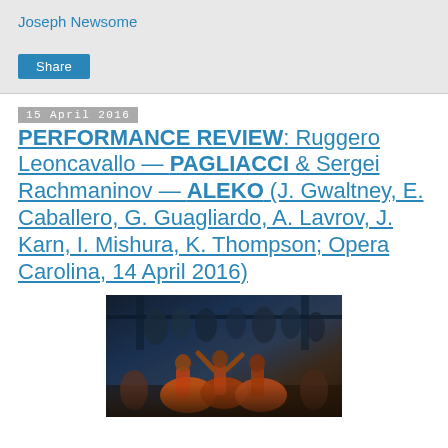Joseph Newsome
Share
15 April 2016
PERFORMANCE REVIEW: Ruggero Leoncavallo — PAGLIACCI & Sergei Rachmaninov — ALEKO (J. Gwaltney, E. Caballero, G. Guagliardo, A. Lavrov, J. Karn, I. Mishura, K. Thompson; Opera Carolina, 14 April 2016)
[Figure (photo): Opera Carolina performance scene showing singers/dancers in colorful costumes on a darkly lit stage]